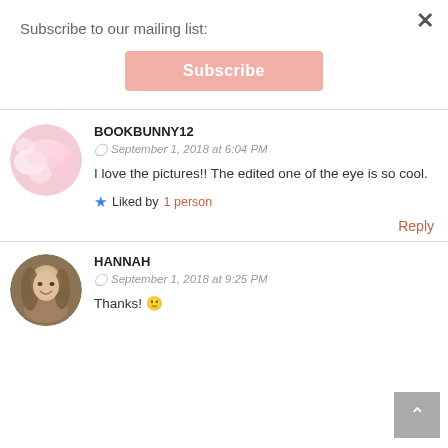Subscribe to our mailing list:
Subscribe
BOOKBUNNY12
September 1, 2018 at 6:04 PM
I love the pictures!! The edited one of the eye is so cool.
Liked by 1 person
Reply
[Figure (photo): Round avatar with pastel pink clouds background]
HANNAH
September 1, 2018 at 9:25 PM
Thanks! 🙂
[Figure (photo): Round avatar showing a young woman with long brown hair smiling]